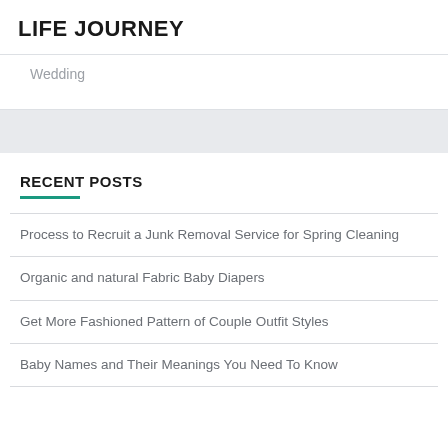LIFE JOURNEY
Wedding
RECENT POSTS
Process to Recruit a Junk Removal Service for Spring Cleaning
Organic and natural Fabric Baby Diapers
Get More Fashioned Pattern of Couple Outfit Styles
Baby Names and Their Meanings You Need To Know